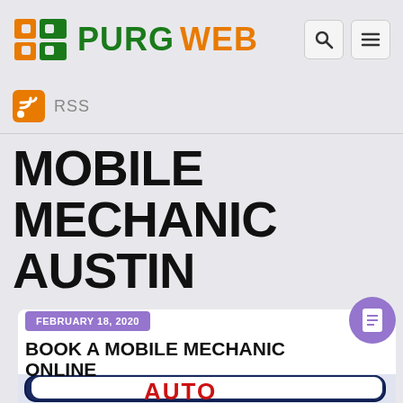PURGWEB
RSS
MOBILE MECHANIC AUSTIN
FEBRUARY 18, 2020
BOOK A MOBILE MECHANIC ONLINE
[Figure (photo): Partial view of a mobile mechanic sign/logo with red text on white background with dark blue border, partially cropped at bottom of page]